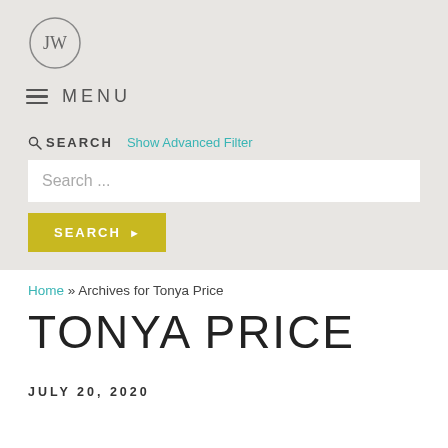[Figure (logo): JW circular logo with letters J and W inside a circle, grey outline]
≡ MENU
🔍 SEARCH   Show Advanced Filter
Search ...
SEARCH ▶
Home » Archives for Tonya Price
TONYA PRICE
JULY 20, 2020